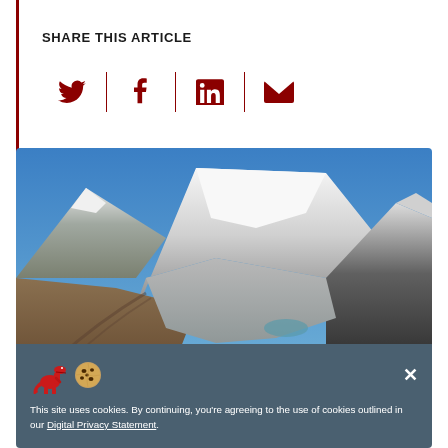SHARE THIS ARTICLE
[Figure (infographic): Social share icons: Twitter, Facebook, LinkedIn, Email separated by dark red vertical dividers]
[Figure (photo): Aerial photograph of a Himalayan glacier with snow-capped mountains under blue sky]
This site uses cookies. By continuing, you're agreeing to the use of cookies outlined in our Digital Privacy Statement.